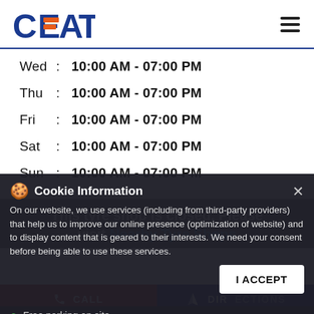CEAT logo and navigation menu
| Day |  | Hours |
| --- | --- | --- |
| Wed | : | 10:00 AM - 07:00 PM |
| Thu | : | 10:00 AM - 07:00 PM |
| Fri | : | 10:00 AM - 07:00 PM |
| Sat | : | 10:00 AM - 07:00 PM |
| Sun | : | 10:00 AM - 07:00 PM |
This tyre shop is closed. Please visit Nearby Tyre Shops
Cookie Information
On our website, we use services (including from third-party providers) that help us to improve our online presence (optimization of website) and to display content that is geared to their interests. We need your consent before being able to use these services.
Free parking on site